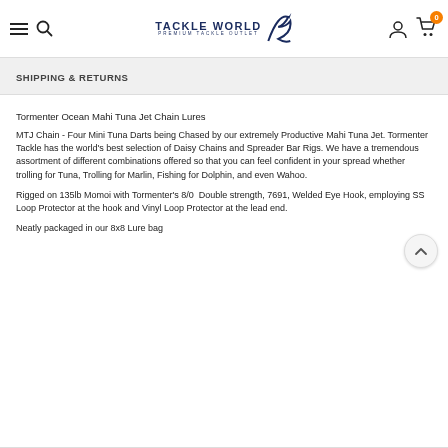Tackle World - Premium Tackle Outlet
SHIPPING & RETURNS
Tormenter Ocean Mahi Tuna Jet Chain Lures
MTJ Chain - Four Mini Tuna Darts being Chased by our extremely Productive Mahi Tuna Jet. Tormenter Tackle has the world's best selection of Daisy Chains and Spreader Bar Rigs. We have a tremendous assortment of different combinations offered so that you can feel confident in your spread whether trolling for Tuna, Trolling for Marlin, Fishing for Dolphin, and even Wahoo.
Rigged on 135lb Momoi with Tormenter's 8/0  Double strength, 7691, Welded Eye Hook, employing SS Loop Protector at the hook and Vinyl Loop Protector at the lead end.
Neatly packaged in our 8x8 Lure bag